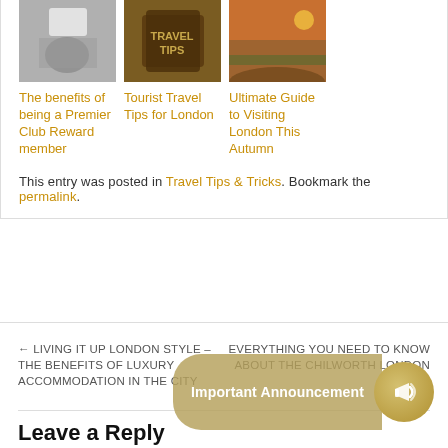[Figure (photo): Three thumbnail images in a row: hand holding a card, a travel tips book, and an autumn park scene in London]
The benefits of being a Premier Club Reward member
Tourist Travel Tips for London
Ultimate Guide to Visiting London This Autumn
This entry was posted in Travel Tips & Tricks. Bookmark the permalink.
← LIVING IT UP LONDON STYLE – THE BENEFITS OF LUXURY ACCOMMODATION IN THE CITY
EVERYTHING YOU NEED TO KNOW ABOUT THE CHILWORTH LONDON →
Leave a Reply
Your email address will not be published. Required fields are marked *
Name *
[Figure (infographic): Important Announcement badge with megaphone icon on gold/tan circular background]